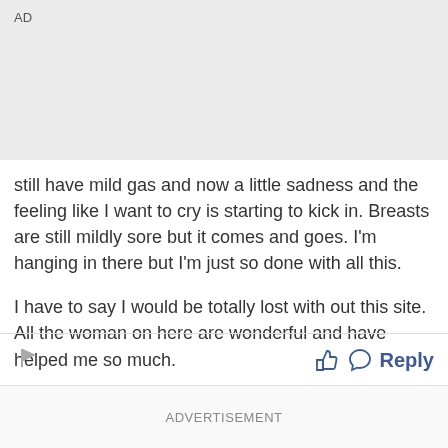AD
still have mild gas and now a little sadness and the feeling like I want to cry is starting to kick in. Breasts are still mildly sore but it comes and goes. I'm hanging in there but I'm just so done with all this.

I have to say I would be totally lost with out this site. All the woman on here are wonderful and have helped me so much.
ADVERTISEMENT